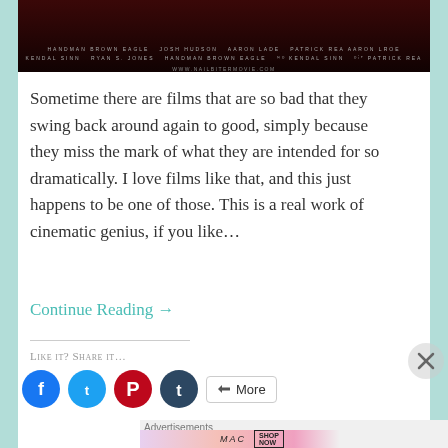[Figure (photo): Movie poster/credits banner with dark red background showing cast and crew names in small caps text, and website URL www.nailbitermovie.com]
Sometime there are films that are so bad that they swing back around again to good, simply because they miss the mark of what they are intended for so dramatically. I love films like that, and this just happens to be one of those. This is a real work of cinematic genius, if you like…
Continue Reading →
Like it? Share it…
[Figure (other): Social media share buttons: Facebook (blue circle), Twitter (light blue circle), Pinterest (red circle), Tumblr (dark blue circle), and a More button]
Advertisements
[Figure (other): MAC cosmetics advertisement banner showing colorful lipsticks and MAC logo with SHOP NOW button]